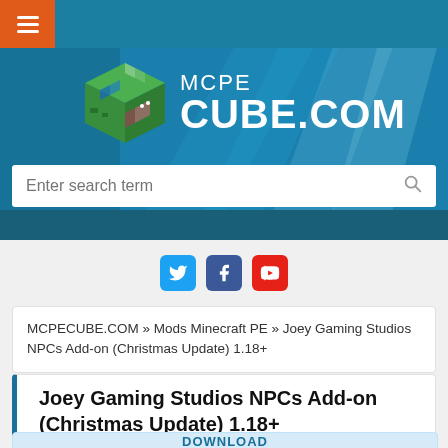[Figure (screenshot): MCPECUBE.COM website header banner with Minecraft cube logo, MCPE CUBE.COM text, navigation hamburger menu, search bar, and social media icons (Twitter, Facebook, YouTube)]
MCPECUBE.COM » Mods Minecraft PE » Joey Gaming Studios NPCs Add-on (Christmas Update) 1.18+
Joey Gaming Studios NPCs Add-on (Christmas Update) 1.18+
DOWNLOAD